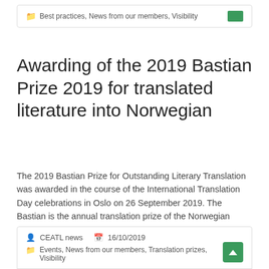Best practices, News from our members, Visibility
Awarding of the 2019 Bastian Prize 2019 for translated literature into Norwegian
The 2019 Bastian Prize for Outstanding Literary Translation was awarded in the course of the International Translation Day celebrations in Oslo on 26 September 2019. The Bastian is the annual translation prize of the Norwegian Association of Literary Translators' (Norsk Oversetterforening). [...]
CEATL news   16/10/2019
Events, News from our members, Translation prizes, Visibility